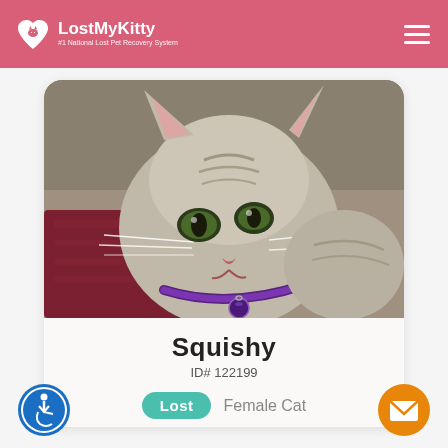LostMyKitty — #1 National Lost Pet Recovery System
[Figure (photo): Close-up photo of a grey tabby cat named Squishy wearing a purple collar with a small purple bell, lying on a red/maroon blanket.]
Squishy
ID# 122199
Lost  Female Cat